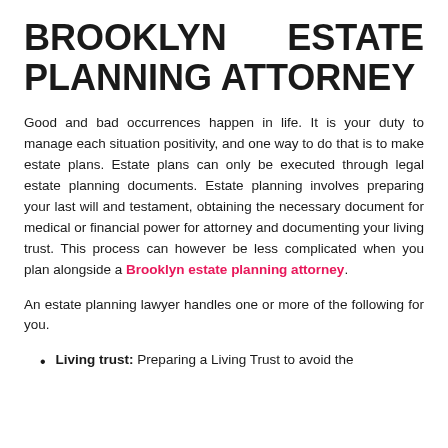BROOKLYN ESTATE PLANNING ATTORNEY
Good and bad occurrences happen in life. It is your duty to manage each situation positivity, and one way to do that is to make estate plans. Estate plans can only be executed through legal estate planning documents. Estate planning involves preparing your last will and testament, obtaining the necessary document for medical or financial power for attorney and documenting your living trust. This process can however be less complicated when you plan alongside a Brooklyn estate planning attorney.
An estate planning lawyer handles one or more of the following for you.
Living trust: Preparing a Living Trust to avoid the